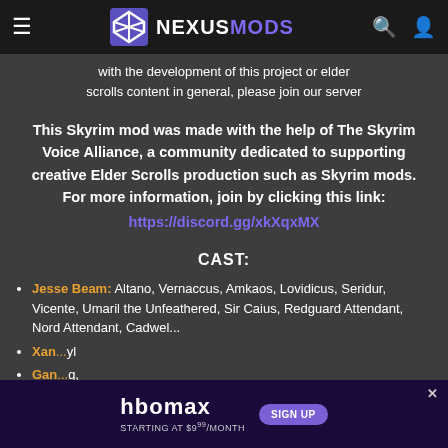NEXUSMODS
with the development of this project or elder scrolls content in general, please join our server
This Skyrim mod was made with the help of The Skyrim Voice Alliance, a community dedicated to supporting creative Elder Scrolls production such as Skyrim mods. For more information, join by clicking this link: https://discord.gg/xkXqxMX
CAST:
Jesse Beam: Altano, Vernaccus, Amkaos, Lovidicus, Seridur, Vicente, Umaril the Unfeathered, Sir Caius, Redguard Attendant, Nord Attendant, Cadwel...
Xan... [partially obscured] ...yl
Gan... [partially obscured] ...g,